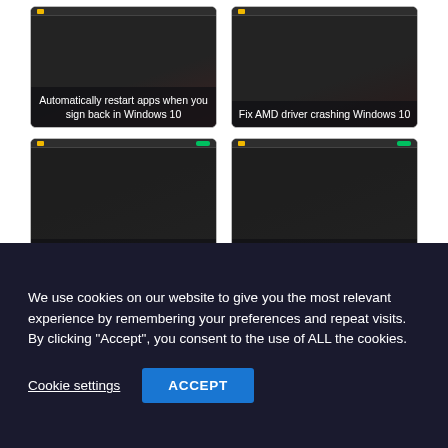[Figure (screenshot): Card: Automatically restart apps when you sign back in Windows 10]
[Figure (screenshot): Card: Fix AMD driver crashing Windows 10]
[Figure (screenshot): Card: Fix nVIDIA driver issues in Windows 10]
[Figure (screenshot): Card: Fix Broadcom BCM20702A0 driver error in Windows 10]
[Figure (screenshot): Partial cards row (cropped)]
We use cookies on our website to give you the most relevant experience by remembering your preferences and repeat visits. By clicking "Accept", you consent to the use of ALL the cookies.
Cookie settings
ACCEPT